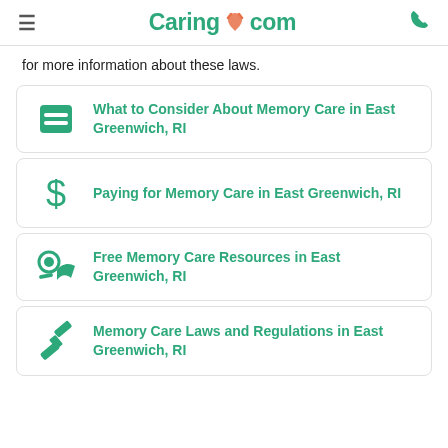Caring.com
for more information about these laws.
What to Consider About Memory Care in East Greenwich, RI
Paying for Memory Care in East Greenwich, RI
Free Memory Care Resources in East Greenwich, RI
Memory Care Laws and Regulations in East Greenwich, RI